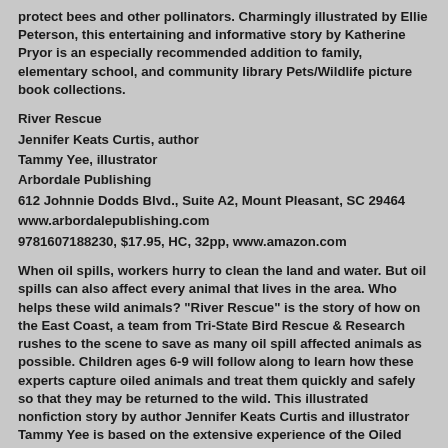protect bees and other pollinators. Charmingly illustrated by Ellie Peterson, this entertaining and informative story by Katherine Pryor is an especially recommended addition to family, elementary school, and community library Pets/Wildlife picture book collections.
River Rescue
Jennifer Keats Curtis, author
Tammy Yee, illustrator
Arbordale Publishing
612 Johnnie Dodds Blvd., Suite A2, Mount Pleasant, SC 29464
www.arbordalepublishing.com
9781607188230, $17.95, HC, 32pp, www.amazon.com
When oil spills, workers hurry to clean the land and water. But oil spills can also affect every animal that lives in the area. Who helps these wild animals? "River Rescue" is the story of how on the East Coast, a team from Tri-State Bird Rescue & Research rushes to the scene to save as many oil spill affected animals as possible. Children ages 6-9 will follow along to learn how these experts capture oiled animals and treat them quickly and safely so that they may be returned to the wild. This illustrated nonfiction story by author Jennifer Keats Curtis and illustrator Tammy Yee is based on the extensive experience of the Oiled Wildlife Response Team at Tri-State. While very